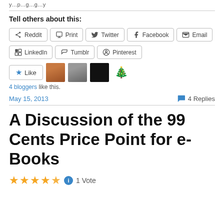...
Tell others about this:
[Figure (infographic): Social sharing buttons: Reddit, Print, Twitter, Facebook, Email, LinkedIn, Tumblr, Pinterest]
[Figure (infographic): Like button with 4 blogger avatars]
4 bloggers like this.
May 15, 2013 / 4 Replies
A Discussion of the 99 Cents Price Point for e-Books
1 Vote (4.5 stars)